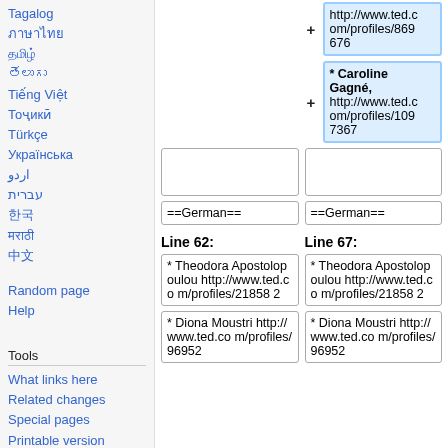Tagalog
ไทย
Türkçe
Українська
اردو
עברית
한국어
Random page
Help
Tools
What links here
Related changes
Special pages
Printable version
Permanent link
Page information
+ http://www.ted.com/profiles/869676
* Caroline Gagné, http://www.ted.com/profiles/1097367
==German==
==German==
Line 62:
Line 67:
* Theodora Apostolopoulou http://www.ted.com/profiles/218582
* Theodora Apostolopoulou http://www.ted.com/profiles/218582
* Diona Moustri http://www.ted.com/profiles/96952
* Diona Moustri http://www.ted.com/profiles/96952